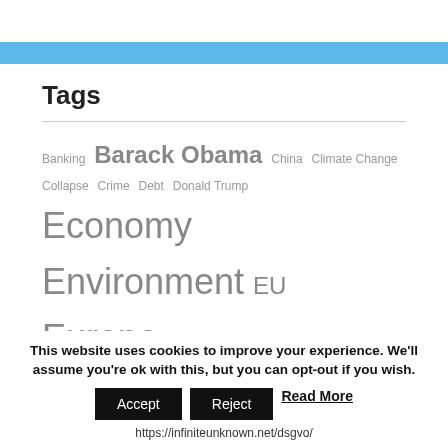Tags
Banking Barack Obama China Climate Change Collapse Crime Debt Donald Trump Economy Environment EU Europe Fed Federal Reserve Food Fukushima Germany Global Cooling Global News Global Warming Government Health Islam Israel Japan Middle East Migrant Crisis
This website uses cookies to improve your experience. We'll assume you're ok with this, but you can opt-out if you wish. Accept Reject Read More https://infiniteunknown.net/dsgvo/